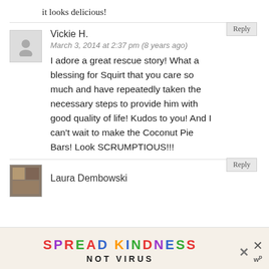it looks delicious!
Reply
Vickie H.
March 3, 2014 at 2:37 pm (8 years ago)
I adore a great rescue story! What a blessing for Squirt that you care so much and have repeatedly taken the necessary steps to provide him with good quality of life! Kudos to you! And I can't wait to make the Coconut Pie Bars! Look SCRUMPTIOUS!!!
Reply
Laura Dembowski
[Figure (infographic): Ad banner reading SPREAD KINDNESS NOT VIRUS with colorful letters and close buttons]